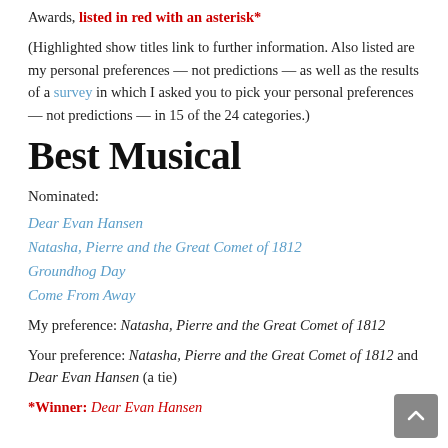Awards, listed in red with an asterisk*
(Highlighted show titles link to further information. Also listed are my personal preferences — not predictions — as well as the results of a survey in which I asked you to pick your personal preferences — not predictions — in 15 of the 24 categories.)
Best Musical
Nominated:
Dear Evan Hansen
Natasha, Pierre and the Great Comet of 1812
Groundhog Day
Come From Away
My preference: Natasha, Pierre and the Great Comet of 1812
Your preference: Natasha, Pierre and the Great Comet of 1812 and Dear Evan Hansen (a tie)
*Winner: Dear Evan Hansen